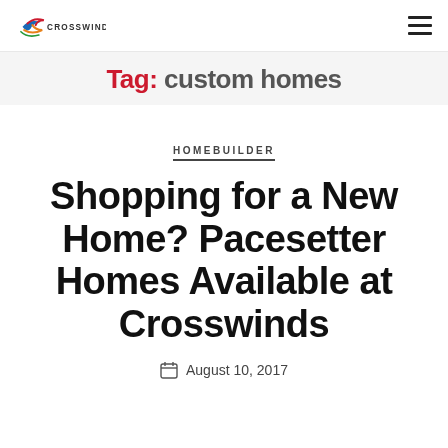CROSSWINDS
Tag: custom homes
HOMEBUILDER
Shopping for a New Home? Pacesetter Homes Available at Crosswinds
August 10, 2017